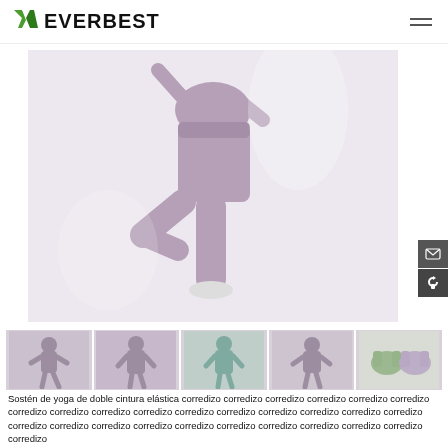EVERBEST
[Figure (photo): Woman wearing mauve/purple yoga leggings in a tree pose yoga position against white background]
[Figure (photo): Thumbnail 1: woman in yoga pose wearing purple/grey yoga set]
[Figure (photo): Thumbnail 2: woman in yoga pose wearing purple yoga set from behind]
[Figure (photo): Thumbnail 3: woman in standing yoga pose wearing teal yoga set]
[Figure (photo): Thumbnail 4: woman in yoga pose wearing purple yoga set]
[Figure (photo): Thumbnail 5: two sports bras in sage green and lavender displayed flat]
Sostén de yoga de doble cintura elástica corredizo corredizo corredizo corredizo corredizo corredizo corredizo corredizo corredizo corredizo corredizo corredizo corredizo corredizo corredizo corredizo corredizo corredizo corredizo corredizo corredizo corredizo corredizo corredizo corredizo corredizo corredizo